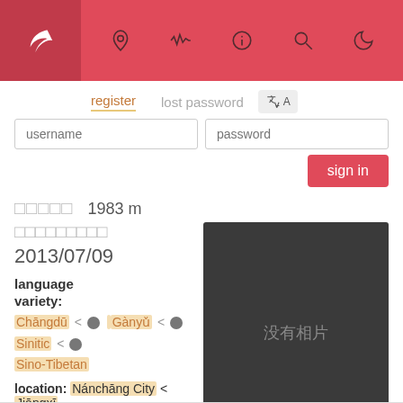[Figure (screenshot): Mobile app navigation bar with red background, active tab icon on left (darker red), and five navigation icons: location pin, waveform, info, search, moon]
register
lost password
username
password
sign in
□□□□□   1983 m
□□□□□□□□□ 2013/07/09
[Figure (photo): Dark grey placeholder image with Chinese text '没有相片' (no photo)]
language variety:
Chāngdū < ⊙ Gànyǔ < ⊙ Sinitic < ⊙ Sino-Tibetan
location: Nánchāng City < Jiāngxī
uploaded by: kellen 2013/07/09